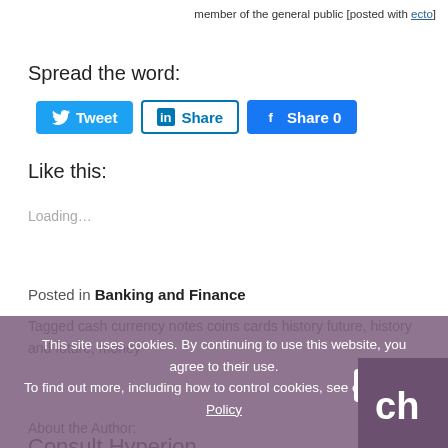member of the general public [posted with ecto]
Spread the word:
[Figure (other): Social sharing buttons: Tweet, Share (LinkedIn), Share 0 (Facebook)]
Like this:
Loading...
Posted in Banking and Finance
Tagged cash currency notes coins cards history future, history and future, money
This site uses cookies. By continuing to use this website, you agree to their use. To find out more, including how to control cookies, see our Cookies Policy
About the Author:
Consult Hyperion